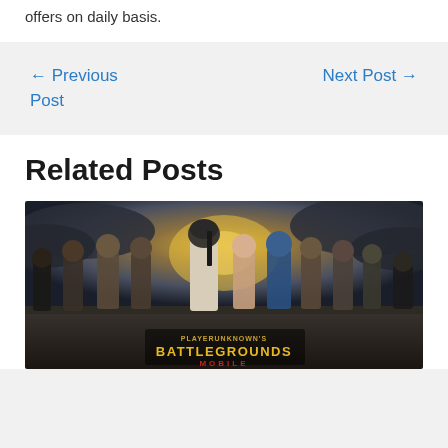offers on daily basis.
← Previous Post
Next Post →
Related Posts
[Figure (photo): PUBG Mobile promotional image showing multiple characters standing in a dramatic scene with stormy sky background and 'PLAYERUNKNOWN'S BATTLEGROUNDS MOBILE' logo at the bottom]